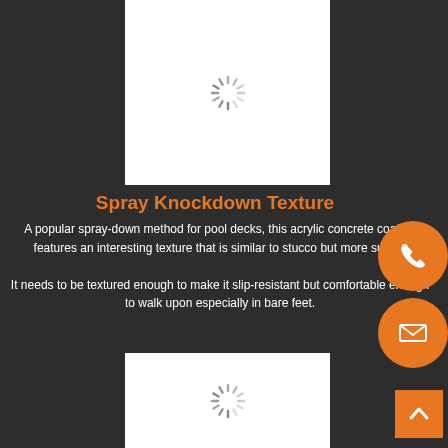[Figure (illustration): White rectangular image placeholder with a loading spinner icon centered inside, positioned at the top center of the page]
Spray Knockdown Texture
A popular spray-down method for pool decks, this acrylic concrete coating features an interesting texture that is similar to stucco but more subtle. It needs to be textured enough to make it slip-resistant but comfortable enough to walk upon especially in bare feet.
[Figure (illustration): White rectangular image placeholder with a loading spinner icon centered inside, positioned at the bottom center of the page]